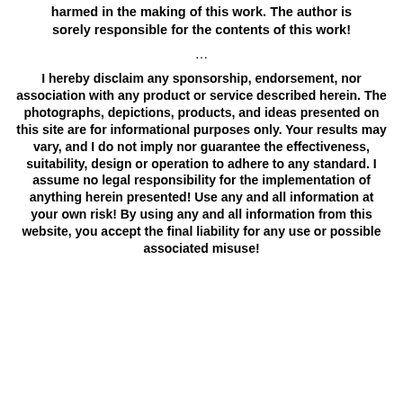harmed in the making of this work. The author is sorely responsible for the contents of this work!
...
I hereby disclaim any sponsorship, endorsement, nor association with any product or service described herein. The photographs, depictions, products, and ideas presented on this site are for informational purposes only. Your results may vary, and I do not imply nor guarantee the effectiveness, suitability, design or operation to adhere to any standard. I assume no legal responsibility for the implementation of anything herein presented! Use any and all information at your own risk! By using any and all information from this website, you accept the final liability for any use or possible associated misuse!